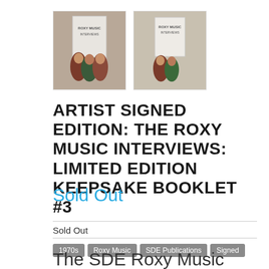[Figure (photo): Two thumbnail photos showing a booklet cover with two people posing, labeled as the Roxy Music interviews booklet.]
ARTIST SIGNED EDITION: THE ROXY MUSIC INTERVIEWS: LIMITED EDITION KEEPSAKE BOOKLET #3
Sold Out
Sold Out
1970s
Roxy Music
SDE Publications
Signed
The SDE Roxy Music Interviews: Andy